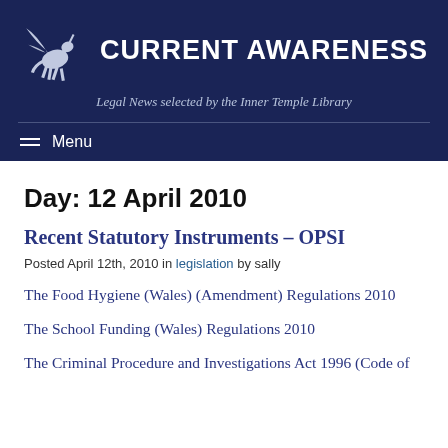CURRENT AWARENESS — Legal News selected by the Inner Temple Library
Day: 12 April 2010
Recent Statutory Instruments – OPSI
Posted April 12th, 2010 in legislation by sally
The Food Hygiene (Wales) (Amendment) Regulations 2010
The School Funding (Wales) Regulations 2010
The Criminal Procedure and Investigations Act 1996 (Code of